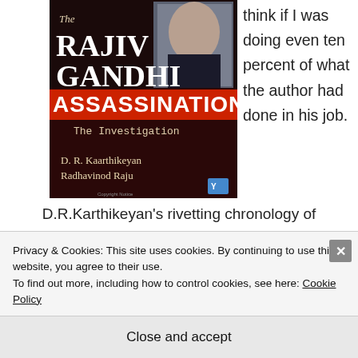[Figure (illustration): Book cover of 'The Rajiv Gandhi Assassination: The Investigation' by D. R. Kaarthikeyan and Radhavinod Raju. Dark background with red 'ASSASSINATION' text and a photo of Rajiv Gandhi.]
think if I was doing even ten percent of what the author had done in his job.
D.R.Karthikeyan's rivetting chronology of
events that led to the mysterious assassination of
Privacy & Cookies: This site uses cookies. By continuing to use this website, you agree to their use.
To find out more, including how to control cookies, see here: Cookie Policy
Close and accept